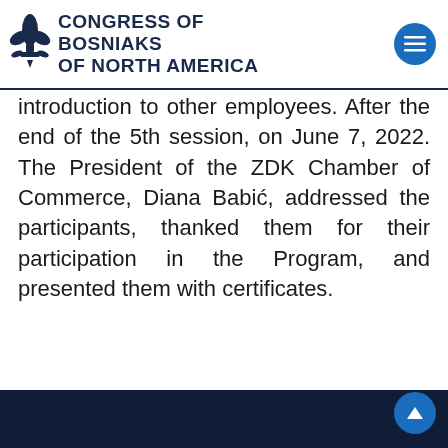CONGRESS OF BOSNIAKS OF NORTH AMERICA
introduction to other employees. After the end of the 5th session, on June 7, 2022. The President of the ZDK Chamber of Commerce, Diana Babić, addressed the participants, thanked them for their participation in the Program, and presented them with certificates.